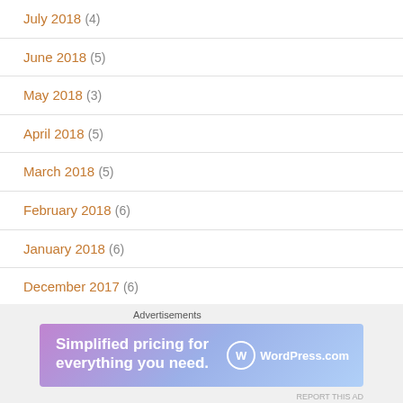July 2018 (4)
June 2018 (5)
May 2018 (3)
April 2018 (5)
March 2018 (5)
February 2018 (6)
January 2018 (6)
December 2017 (6)
November 2017 (4)
October 2017 (6)
[Figure (screenshot): WordPress.com advertisement banner: 'Simplified pricing for everything you need.']